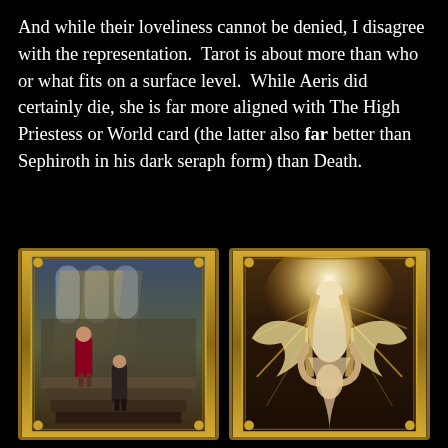And while their loveliness cannot be denied, I disagree with the representation. Tarot is about more than who or what fits on a surface level. While Aeris did certainly die, she is far more aligned with The High Priestess or World card (the latter also far better than Sephiroth in his dark seraph form) than Death.
[Figure (illustration): Two ornate tarot card illustrations side by side with gold decorative borders. Left card shows a figure in red standing on stone steps in a cathedral or castle setting with dramatic light rays through gothic windows and another figure at bottom. Right card shows a large angelic or divine winged figure with bright glowing light, appearing powerful and otherworldly against a dark background.]